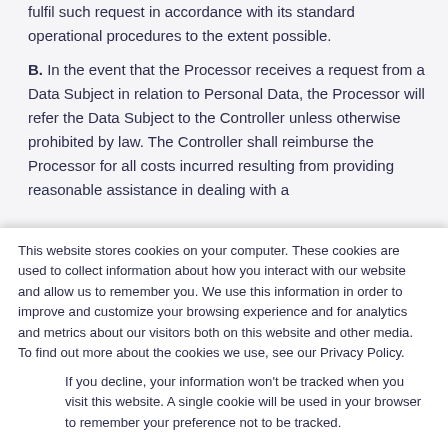fulfil such request in accordance with its standard operational procedures to the extent possible.
B. In the event that the Processor receives a request from a Data Subject in relation to Personal Data, the Processor will refer the Data Subject to the Controller unless otherwise prohibited by law. The Controller shall reimburse the Processor for all costs incurred resulting from providing reasonable assistance in dealing with a
This website stores cookies on your computer. These cookies are used to collect information about how you interact with our website and allow us to remember you. We use this information in order to improve and customize your browsing experience and for analytics and metrics about our visitors both on this website and other media. To find out more about the cookies we use, see our Privacy Policy.
If you decline, your information won't be tracked when you visit this website. A single cookie will be used in your browser to remember your preference not to be tracked.